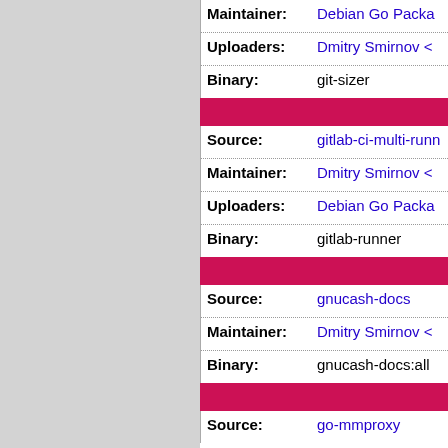| Field | Value |
| --- | --- |
| Maintainer: | Debian Go Packa… |
| Uploaders: | Dmitry Smirnov <… |
| Binary: | git-sizer |
| Field | Value |
| --- | --- |
| Source: | gitlab-ci-multi-runn… |
| Maintainer: | Dmitry Smirnov <… |
| Uploaders: | Debian Go Packa… |
| Binary: | gitlab-runner |
| Field | Value |
| --- | --- |
| Source: | gnucash-docs |
| Maintainer: | Dmitry Smirnov <… |
| Binary: | gnucash-docs:all |
| Field | Value |
| --- | --- |
| Source: | go-mmproxy |